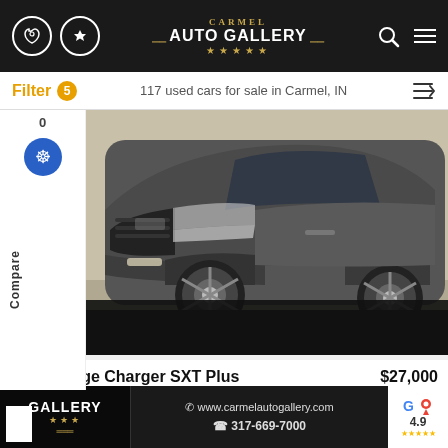Carmel Auto Gallery
Filter 5  117 used cars for sale in Carmel, IN
[Figure (photo): Gray 2018 Dodge Charger SXT Plus sedan, front 3/4 view on a paved surface]
Compare
2018 Dodge Charger SXT Plus  $27,000
Stock #: CA8701  Miles: 66,170  Interior: Black
Carmel Auto Gallery  www.carmelautogallery.com  317-669-7000  Google Maps 4.9 stars